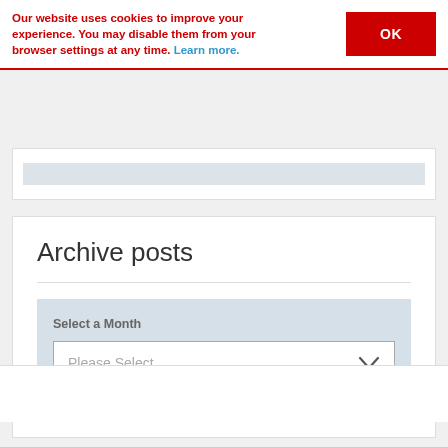Our website uses cookies to improve your experience. You may disable them from your browser settings at any time. Learn more.
OK
Archive posts
Select a Month
Please Select